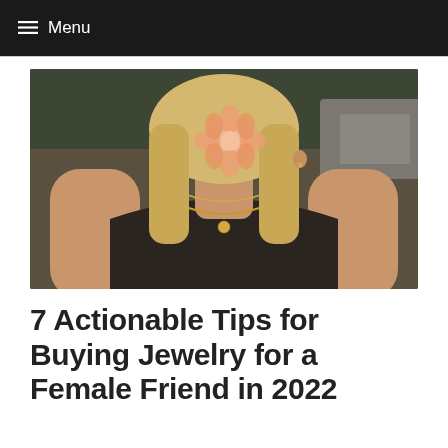≡ Menu
[Figure (photo): Close-up photo of a young blonde woman wearing a black halter top and layered gold necklaces, holding a peach-colored flower in front of her mouth. Background shows blurred outdoor foliage.]
7 Actionable Tips for Buying Jewelry for a Female Friend in 2022